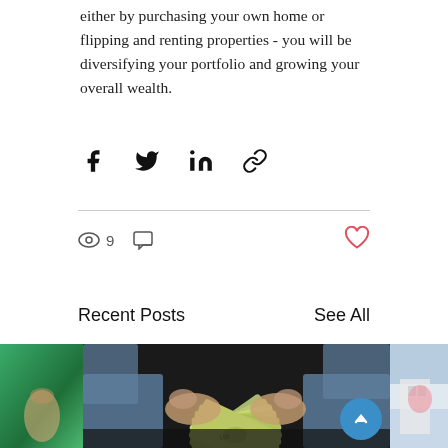either by purchasing your own home or flipping and renting properties - you will be diversifying your portfolio and growing your overall wealth.
[Figure (infographic): Social sharing icons: Facebook, Twitter, LinkedIn, and a link/chain icon]
[Figure (infographic): Engagement stats row: eye icon with count 9, comment bubble icon; heart/like icon on the right (outline, red/pink color)]
Recent Posts
See All
[Figure (photo): Three partially visible blog post thumbnail images side by side: left is a green-toned image (partially cut), center shows hands holding fanned-out US dollar bills, right is a partially visible outdoor/building scene. A blue circular scroll-to-top button is overlaid on the center image.]